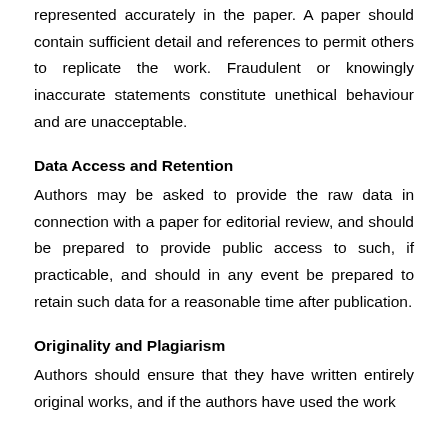represented accurately in the paper. A paper should contain sufficient detail and references to permit others to replicate the work. Fraudulent or knowingly inaccurate statements constitute unethical behaviour and are unacceptable.
Data Access and Retention
Authors may be asked to provide the raw data in connection with a paper for editorial review, and should be prepared to provide public access to such, if practicable, and should in any event be prepared to retain such data for a reasonable time after publication.
Originality and Plagiarism
Authors should ensure that they have written entirely original works, and if the authors have used the work